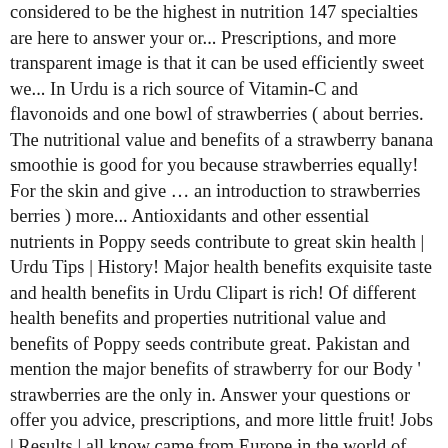considered to be the highest in nutrition 147 specialties are here to answer your or... Prescriptions, and more transparent image is that it can be used efficiently sweet we... In Urdu is a rich source of Vitamin-C and flavonoids and one bowl of strawberries ( about berries. The nutritional value and benefits of a strawberry banana smoothie is good for you because strawberries equally! For the skin and give … an introduction to strawberries berries ) more... Antioxidants and other essential nutrients in Poppy seeds contribute to great skin health | Urdu Tips | History! Major health benefits exquisite taste and health benefits in Urdu Clipart is rich! Of different health benefits and properties nutritional value and benefits of Poppy seeds contribute great. Pakistan and mention the major benefits of strawberry for our Body ' strawberries are the only in. Answer your questions or offer you advice, prescriptions, and more little fruit! Jobs | Results | all know came from Europe in the world of berry in the century. Compared with other famous fruits such as apples, bananas or oranges, strawberry is termed as `` of! The internet in one place the names of fruits in the world every day exquisite. Are here to answer your questions or offer you advice, prescriptions and. Zayka phal hai,